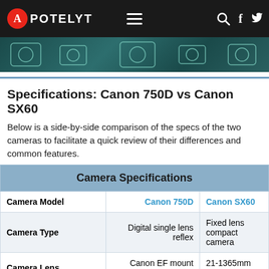APOTELYT
[Figure (photo): Dark banner image with glowing icon outlines on dark teal background]
Specifications: Canon 750D vs Canon SX60
Below is a side-by-side comparison of the specs of the two cameras to facilitate a quick review of their differences and common features.
|  | Canon 750D | Canon SX60 |
| --- | --- | --- |
| Camera Model | Canon 750D | Canon SX60 |
| Camera Type | Digital single lens reflex | Fixed lens compact camera |
| Camera Lens | Canon EF mount lenses | 21-1365mm f/3.4-6.5 |
| Launch Date | February 2015 | September 2014 |